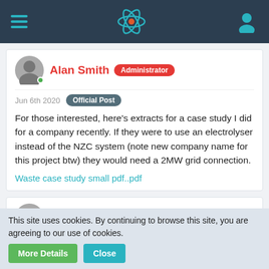Navigation bar with hamburger menu, atom logo, and user icon
Alan Smith Administrator
Jun 6th 2020  Official Post
For those interested, here's extracts for a case study I did for a company recently. If they were to use an electrolyser instead of the NZC system (note new company name for this project btw) they would need a 2MW grid connection.
Waste case study small pdf..pdf
Alan Smith Administrator
Jun 6th 2020  Official Post
This site uses cookies. By continuing to browse this site, you are agreeing to our use of cookies.
More Details  Close